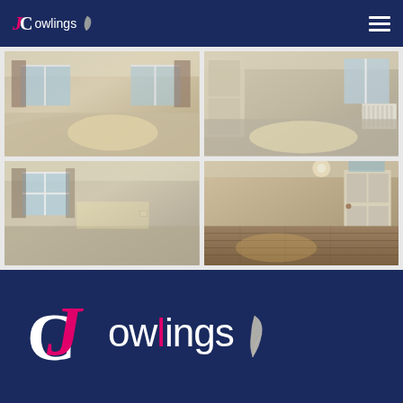[Figure (logo): Jowlings estate agency logo in white on dark navy header with hamburger menu icon]
[Figure (photo): Interior photo of a living room with carpeted floor, curtains, and windows]
[Figure (photo): Interior photo of a bedroom with carpet, a door and radiator visible]
[Figure (photo): Interior photo of a bedroom with window and curtains, bare walls]
[Figure (photo): Interior photo of a room with wood floor and a door]
[Figure (logo): Large Jowlings estate agency logo in white and pink on dark navy footer background]